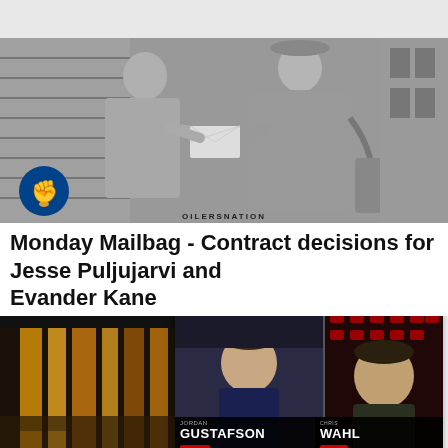[Figure (photo): Black and white vintage photo of two people exchanging a document or letter, with an OilersNation logo watermark in the bottom left corner]
Monday Mailbag - Contract decisions for Jesse Puljujarvi and Evander Kane
[Figure (screenshot): Video popup overlay showing '2022 NHL Draft 1-on-1 – Jordan Gustafs...' with a close button. Shows two video panels: left panel with Jordan Gustafson and right panel with Chris Wahl, both with name bars at bottom. Mute button visible. WHL and Draft logos visible.]
[Figure (photo): Partial bottom-left photo showing warm amber/gold toned architectural interior]